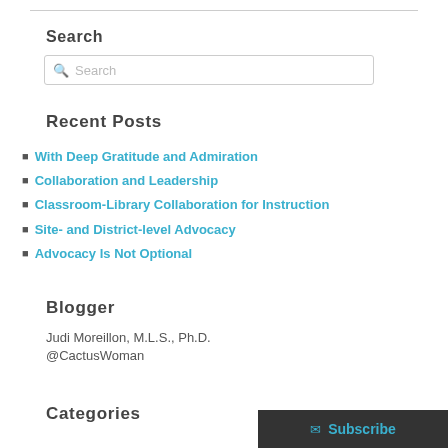Search
Search (input box)
Recent Posts
With Deep Gratitude and Admiration
Collaboration and Leadership
Classroom-Library Collaboration for Instruction
Site- and District-level Advocacy
Advocacy Is Not Optional
Blogger
Judi Moreillon, M.L.S., Ph.D.
@CactusWoman
Categories
Subscribe